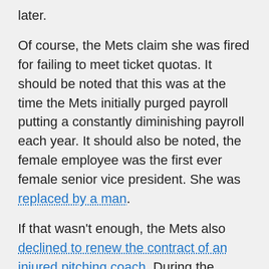later.
Of course, the Mets claim she was fired for failing to meet ticket quotas. It should be noted that this was at the time the Mets initially purged payroll putting a constantly diminishing payroll each year. It should also be noted, the female employee was the first ever female senior vice president. She was replaced by a man.
If that wasn't enough, the Mets also declined to renew the contract of an injured pitching coach. During the season, Tom Signore was struck with a ball causing blindness in one eye at post-concussion symptoms. He was regarded well enough to fill-in for Frank Viola in AAA. Now that he had some medical issues, he's pushed out the door.